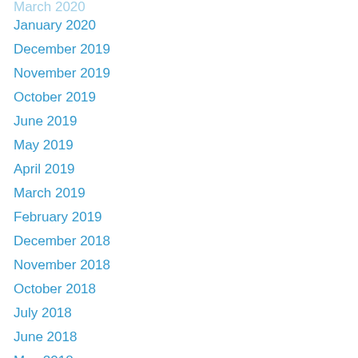March 2020
January 2020
December 2019
November 2019
October 2019
June 2019
May 2019
April 2019
March 2019
February 2019
December 2018
November 2018
October 2018
July 2018
June 2018
May 2018
April 2018
February 2018
January 2018
December 2017
November 2017